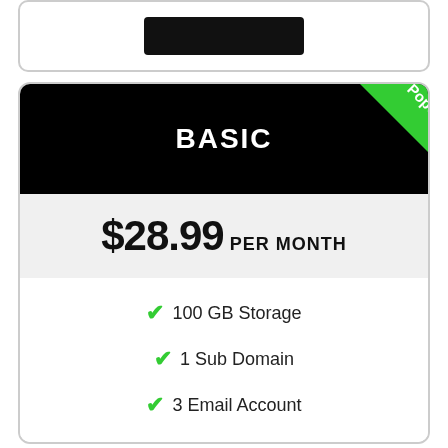[Figure (other): Top card with a dark/black rectangular logo or image placeholder]
BASIC
[Figure (other): Green diagonal 'Popular' ribbon badge in top-right corner of the card]
$28.99 PER MONTH
✔ 100 GB Storage
✔ 1 Sub Domain
✔ 3 Email Account
✔ 24/7 Support